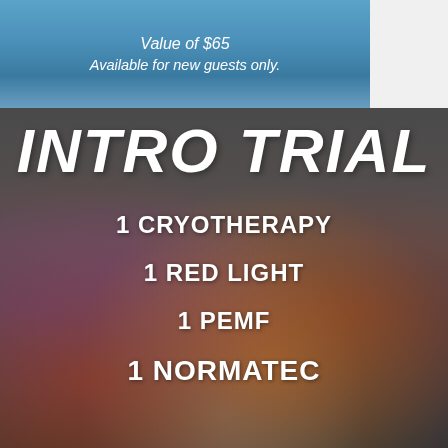Value of $65
Available for new guests only.
[Figure (infographic): Intro Trial wellness services promotional graphic with smoke and fire background. Dark grey background with colorful smoke effects in red, orange, blue, and purple.]
INTRO TRIAL
1 CRYOTHERAPY
1 RED LIGHT
1 PEMF
1 NORMATEC